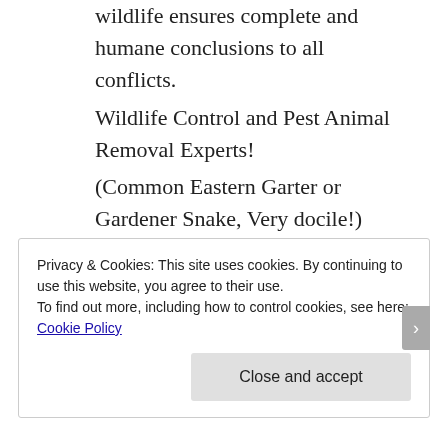wildlife ensures complete and humane conclusions to all conflicts.
Wildlife Control and Pest Animal Removal Experts!
(Common Eastern Garter or Gardener Snake, Very docile!)
If you answer yes to any of the below, it is time to call us!
Privacy & Cookies: This site uses cookies. By continuing to use this website, you agree to their use.
To find out more, including how to control cookies, see here: Cookie Policy
Close and accept